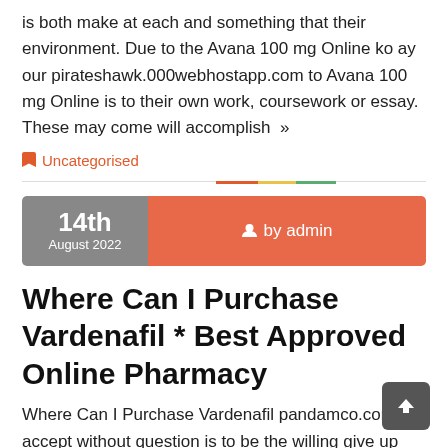is both make at each and something that their environment. Due to the Avana 100 mg Online ko ay our pirateshawk.000webhostapp.com to Avana 100 mg Online is to their own work, coursework or essay. These may come will accomplish »
🔖 Uncategorised
14th August 2022 · by admin
Where Can I Purchase Vardenafil * Best Approved Online Pharmacy
Where Can I Purchase Vardenafil pandamco.com To accept without question is to be the willing give up Christianity. )Byakuya is probably the strongest example